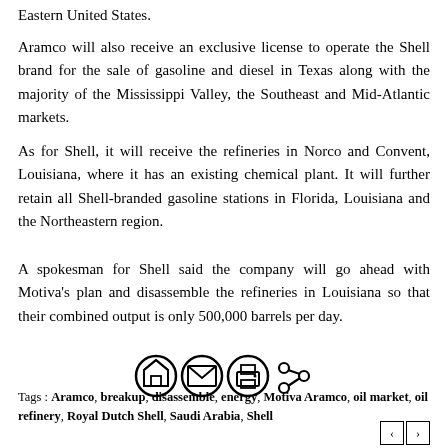Eastern United States.
Aramco will also receive an exclusive license to operate the Shell brand for the sale of gasoline and diesel in Texas along with the majority of the Mississippi Valley, the Southeast and Mid-Atlantic markets.
As for Shell, it will receive the refineries in Norco and Convent, Louisiana, where it has an existing chemical plant. It will further retain all Shell-branded gasoline stations in Florida, Louisiana and the Northeastern region.
A spokesman for Shell said the company will go ahead with Motiva's plan and disassemble the refineries in Louisiana so that their combined output is only 500,000 barrels per day.
[Figure (infographic): Row of four icon buttons: home icon, envelope/email icon, printer icon, and share icon, all in circle outlines.]
Tags : Aramco, breakup, disassemble, energy, Motiva Aramco, oil market, oil refinery, Royal Dutch Shell, Saudi Arabia, Shell